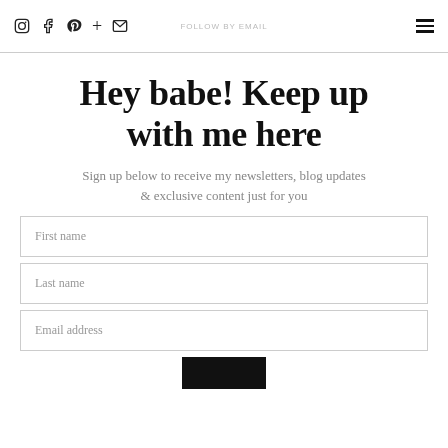FOLLOW BY EMAIL
Hey babe! Keep up with me here
Sign up below to receive my newsletters, blog updates & exclusive content just for you